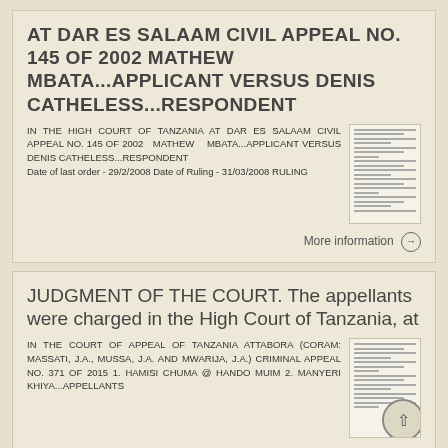AT DAR ES SALAAM CIVIL APPEAL NO. 145 OF 2002 MATHEW MBATA...APPLICANT VERSUS DENIS CATHELESS...RESPONDENT
IN THE HIGH COURT OF TANZANIA AT DAR ES SALAAM CIVIL APPEAL NO. 145 OF 2002 MATHEW MBATA...APPLICANT VERSUS DENIS CATHELESS...RESPONDENT Date of last order - 29/2/2008 Date of Ruling - 31/03/2008 RULING
More information
JUDGMENT OF THE COURT. The appellants were charged in the High Court of Tanzania, at
IN THE COURT OF APPEAL OF TANZANIA ATTABORA (CORAM: MASSATI, J.A., MUSSA, J.A. And MWARIJA, J.A.) CRIMINAL APPEAL NO. 371 OF 2015 1. HAMISI CHUMA @ HANDO MUIM 2. MANYERI KHIYA...APPELLANTS